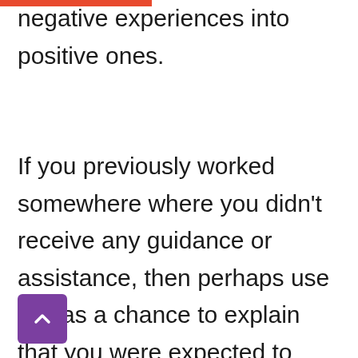negative experiences into positive ones.
If you previously worked somewhere where you didn't receive any guidance or assistance, then perhaps use this as a chance to explain that you were expected to work independently and this encouraged you to use your own initiative and trust your own ideas